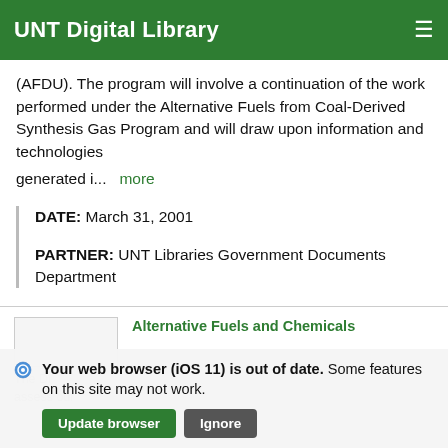UNT Digital Library
(AFDU). The program will involve a continuation of the work performed under the Alternative Fuels from Coal-Derived Synthesis Gas Program and will draw upon information and technologies generated i... more
DATE: March 31, 2001
PARTNER: UNT Libraries Government Documents Department
Alternative Fuels and Chemicals
Your web browser (iOS 11) is out of date. Some features on this site may not work.